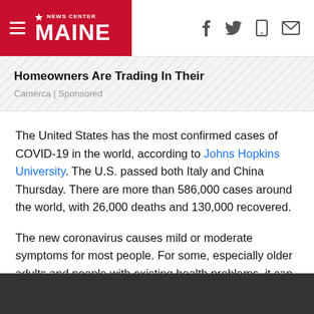NEWS CENTER MAINE
Homeowners Are Trading In Their
Camerca | Sponsored
The United States has the most confirmed cases of COVID-19 in the world, according to Johns Hopkins University. The U.S. passed both Italy and China Thursday. There are more than 586,000 cases around the world, with 26,000 deaths and 130,000 recovered.
The new coronavirus causes mild or moderate symptoms for most people. For some, especially older adults and people with existing health problems, it can cause more severe illness or death.
[Figure (photo): Dark image bar at bottom of page]